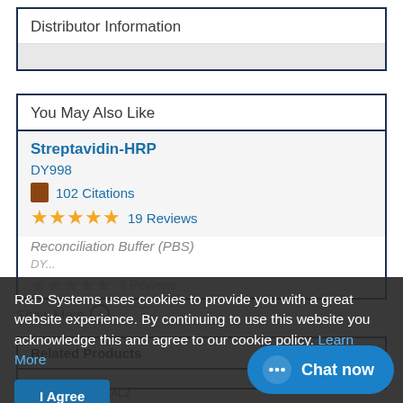Distributor Information
You May Also Like
Streptavidin-HRP
DY998
102 Citations
19 Reviews
Reconciliation Buffer (PBS)
3 Reviews
Show More
Related Products
All Conduits for HAL2
R&D Systems uses cookies to provide you with a great website experience. By continuing to use this website you acknowledge this and agree to our cookie policy. Learn More
I Agree
Chat now